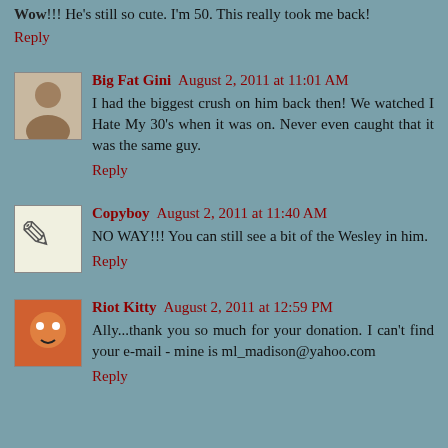Wow!!! He's still so cute. I'm 50. This really took me back!
Reply
Big Fat Gini August 2, 2011 at 11:01 AM
I had the biggest crush on him back then! We watched I Hate My 30's when it was on. Never even caught that it was the same guy.
Reply
Copyboy August 2, 2011 at 11:40 AM
NO WAY!!! You can still see a bit of the Wesley in him.
Reply
Riot Kitty August 2, 2011 at 12:59 PM
Ally...thank you so much for your donation. I can't find your e-mail - mine is ml_madison@yahoo.com
Reply